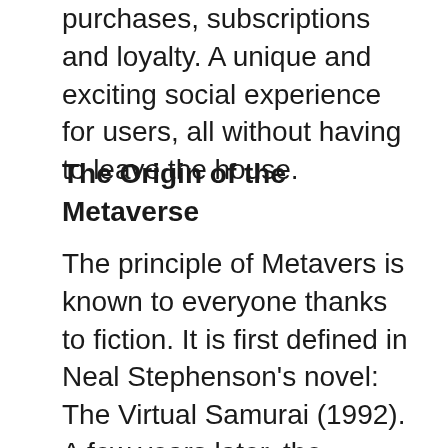purchases, subscriptions and loyalty. A unique and exciting social experience for users, all without having to leave the house.
The Origin of the Metaverse
The principle of Metavers is known to everyone thanks to fiction. It is first defined in Neal Stephenson's novel: The Virtual Samurai (1992). A few years later, the choreographed saga Matrix made a cinematic breach in the world of alternate reality. Closer to home, the very ambitious series upload (Amazon Prime) envisioned a unique link between the real world and the afterlife. In the universe of the video game of the mastodons like Fortnite Where Second Life share all the lion's share. On the network